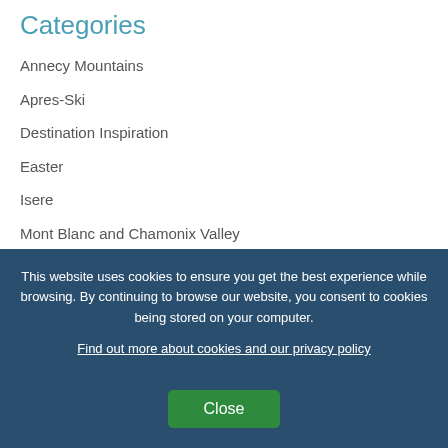Categories
Annecy Mountains
Apres-Ski
Destination Inspiration
Easter
Isere
Mont Blanc and Chamonix Valley
News
Oisans
Planning Trips (partial)
This website uses cookies to ensure you get the best experience while browsing. By continuing to browse our website, you consent to cookies being stored on your computer.
Find out more about cookies and our privacy policy
Close